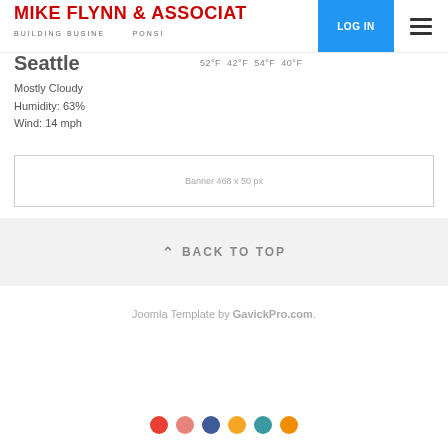Mike Flynn & Associates
Building Business Responsibly
Seattle
52°F  42°F  54°F  40°F
Mostly Cloudy
Humidity: 63%
Wind: 14 mph
[Figure (other): Banner 468 x 50 px advertisement placeholder]
^ BACK TO TOP
Joomla Template by GavickPro.com.
[Figure (other): Color theme selector dots: red, pink, blue, yellow, teal, orange]